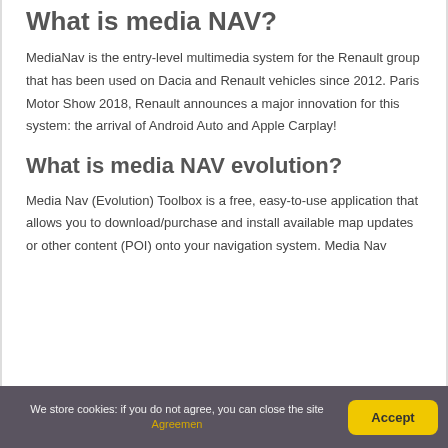What is media NAV?
MediaNav is the entry-level multimedia system for the Renault group that has been used on Dacia and Renault vehicles since 2012. Paris Motor Show 2018, Renault announces a major innovation for this system: the arrival of Android Auto and Apple Carplay!
What is media NAV evolution?
Media Nav (Evolution) Toolbox is a free, easy-to-use application that allows you to download/purchase and install available map updates or other content (POI) onto your navigation system. Media Nav
We store cookies: if you do not agree, you can close the site Agreemen Accept